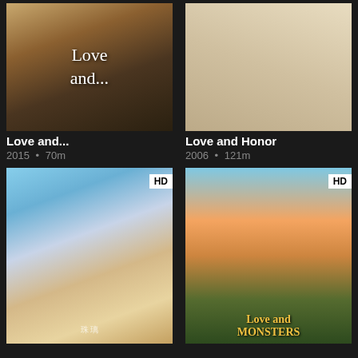[Figure (photo): Movie poster for 'Love and...' showing two people walking, text 'Love and...' in decorative font, autumn tones]
[Figure (photo): Movie poster for 'Love and Honor' showing birds perched on a sword against a light background]
Love and...
2015 • 70m
Love and Honor
2006 • 121m
[Figure (photo): Movie poster for Chinese fantasy film showing couple embracing with angel wings, HD badge in corner, Chinese characters at bottom]
[Figure (photo): Movie poster for 'Love and Monsters' showing young man with crossbow, woman, dog and other survivors in post-apocalyptic setting, HD badge in corner]